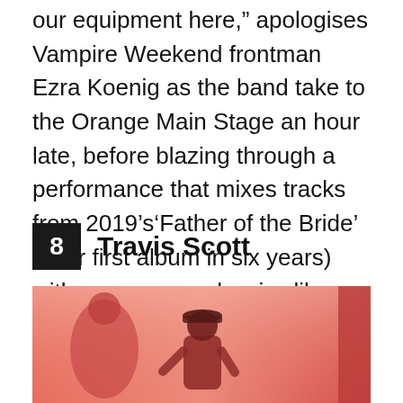our equipment here,” apologises Vampire Weekend frontman Ezra Koenig as the band take to the Orange Main Stage an hour late, before blazing through a performance that mixes tracks from 2019’s‘Father of the Bride’ (their first album in six years) with preppy-pop classics like ‘Cousins’, ‘A-Punk’ and ‘Oxford Comma’.
8  Travis Scott
[Figure (photo): Photo of Travis Scott performing on stage with red/pink atmospheric lighting. A figure in a cap and hoodie stands in the foreground centre, with another figure visible to the left.]